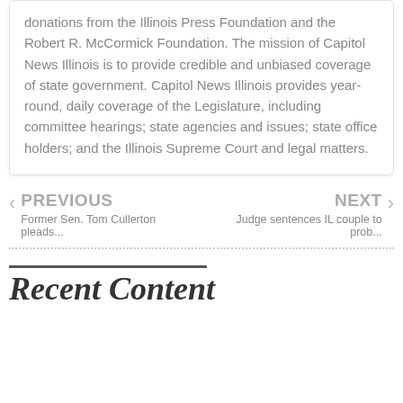donations from the Illinois Press Foundation and the Robert R. McCormick Foundation. The mission of Capitol News Illinois is to provide credible and unbiased coverage of state government. Capitol News Illinois provides year-round, daily coverage of the Legislature, including committee hearings; state agencies and issues; state office holders; and the Illinois Supreme Court and legal matters.
PREVIOUS — Former Sen. Tom Cullerton pleads...
NEXT — Judge sentences IL couple to prob...
Recent Content